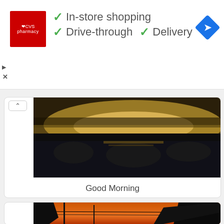[Figure (screenshot): CVS Pharmacy advertisement banner showing CVS red logo with checkmarks for In-store shopping, Drive-through, and Delivery services, with a blue navigation diamond icon on the right]
[Figure (photo): Misty lake landscape at dawn with golden light reflecting on water and silhouetted trees in background]
Good Morning
[Figure (photo): Sunset scene with silhouetted trees and power lines against an orange-red sky]